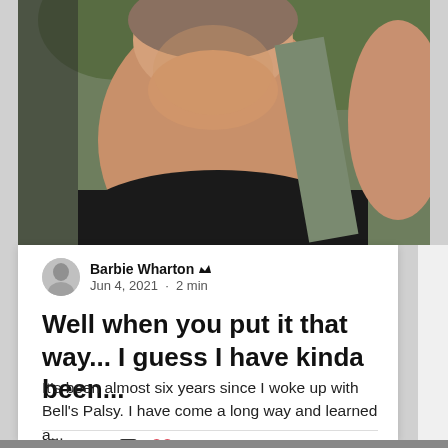[Figure (photo): Selfie photo of a woman in a car wearing a black top, taken from below showing her neck and shoulder area, with green foliage visible in background]
Barbie Wharton 👑
Jun 4, 2021 · 2 min
Well when you put it that way... I guess I have kinda been...
It's been almost six years since I woke up with Bell's Palsy. I have come a long way and learned a...
👁 100   💬 0   ♡